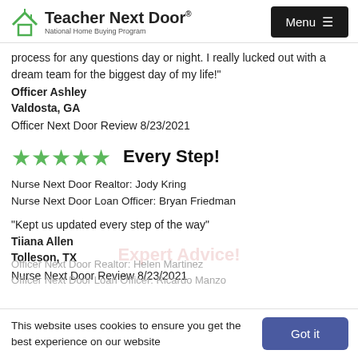[Figure (logo): Teacher Next Door logo with green house icon and text 'Teacher Next Door® National Home Buying Program']
process for any questions day or night. I really lucked out with a dream team for the biggest day of my life!"
Officer Ashley
Valdosta, GA
Officer Next Door Review 8/23/2021
[Figure (infographic): Five green stars rating followed by bold text: Every Step!]
Nurse Next Door Realtor: Jody Kring
Nurse Next Door Loan Officer: Bryan Friedman
"Kept us updated every step of the way"
Tiiana Allen
Tolleson, TX
Nurse Next Door Review 8/23/2021
This website uses cookies to ensure you get the best experience on our website
Officer Next Door Realtor: Helen Martinez
Officer Next Door Loan Officer: Ricardo Manzo